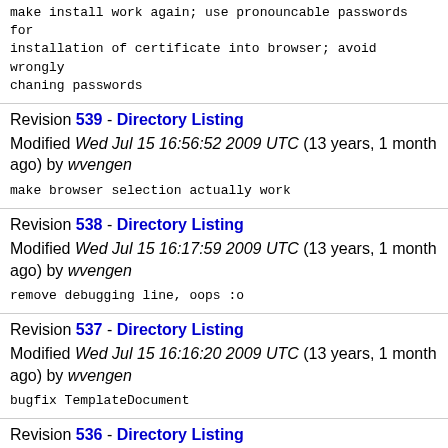make install work again; use pronouncable passwords for installation of certificate into browser; avoid wrongly chaning passwords
Revision 539 - Directory Listing
Modified Wed Jul 15 16:56:52 2009 UTC (13 years, 1 month ago) by wvengen
make browser selection actually work
Revision 538 - Directory Listing
Modified Wed Jul 15 16:17:59 2009 UTC (13 years, 1 month ago) by wvengen
remove debugging line, oops :o
Revision 537 - Directory Listing
Modified Wed Jul 15 16:16:20 2009 UTC (13 years, 1 month ago) by wvengen
bugfix TemplateDocument
Revision 536 - Directory Listing
Modified Wed Jul 15 16:00:42 2009 UTC (13 years, 1 month ago) by wvengen